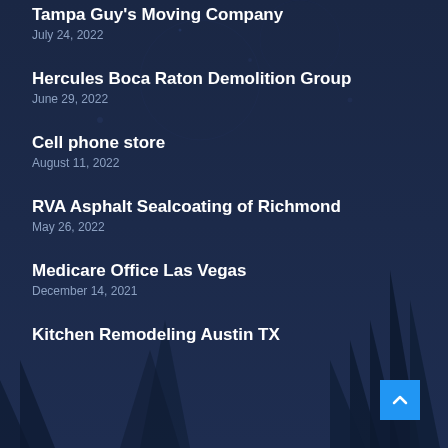Tampa Guy's Moving Company
July 24, 2022
Hercules Boca Raton Demolition Group
June 29, 2022
Cell phone store
August 11, 2022
RVA Asphalt Sealcoating of Richmond
May 26, 2022
Medicare Office Las Vegas
December 14, 2021
Kitchen Remodeling Austin TX